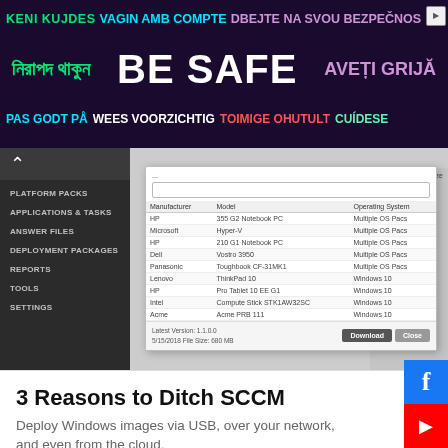[Figure (screenshot): Top banner advertisement with multilingual 'BE SAFE' text in various colors on dark purple/black background. Languages include Danish, Bengali, Dutch, Estonian, Spanish, Czech, and others. Text reads: KENI KUJDES VAGIN AMB COMPTE DBEJTE NA SVOU BEZPECNOS / নিরাপদ থাকুন BE SAFE AVETI GRIJA / PAS GODT PÅ WEES VOORZICHTIG TOIMIGE OHUTULT CUIDESE]
[Figure (screenshot): Screenshot of a software interface showing a dark sidebar with menu items (PLATFORM PACKS, APPLICATIONS & TASKS, ANSWER FILES, DEPLOYMENT PACKAGES, REPORTS, TOOLS, SETTINGS) and a dialog box listing computer models with Manufacturer, Model, Operating System columns. Entries include HP, Microsoft, Panasonic, Lenovo, Intel entries. Footer shows Latest Version: 1.1.0.0, 5/15/2018 File Size: 680 MB with Download and Close buttons.]
3 Reasons to Ditch SCCM
Deploy Windows images via USB, over your network, and even from the cloud.
SmartDeploy
Learn More >